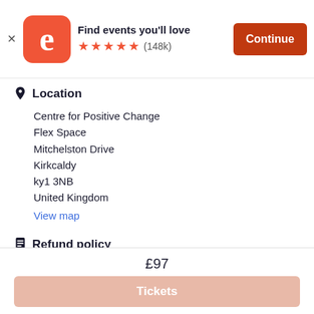[Figure (screenshot): Eventbrite app banner with orange logo, tagline 'Find events you'll love', five orange star rating with (148k) reviews, and a dark red 'Continue' button]
Location
Centre for Positive Change
Flex Space
Mitchelston Drive
Kirkcaldy
ky1 3NB
United Kingdom
View map
Refund policy
No Refunds
£97
Tickets